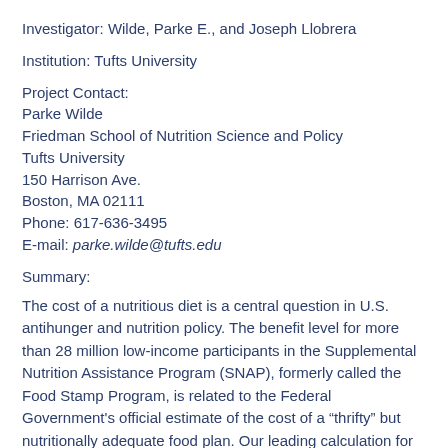Investigator: Wilde, Parke E., and Joseph Llobrera
Institution: Tufts University
Project Contact:
Parke Wilde
Friedman School of Nutrition Science and Policy
Tufts University
150 Harrison Ave.
Boston, MA 02111
Phone: 617-636-3495
E-mail: parke.wilde@tufts.edu
Summary:
The cost of a nutritious diet is a central question in U.S. antihunger and nutrition policy. The benefit level for more than 28 million low-income participants in the Supplemental Nutrition Assistance Program (SNAP), formerly called the Food Stamp Program, is related to the Federal Government's official estimate of the cost of a “thrifty” but nutritionally adequate food plan. Our leading calculation for the most evidence-based